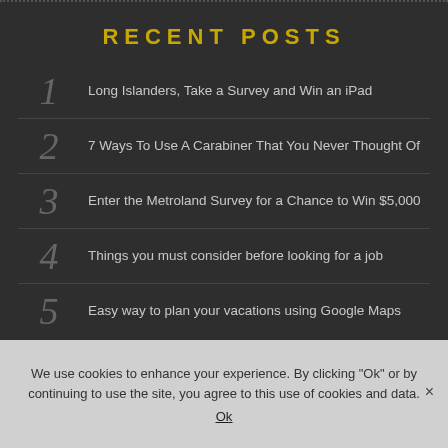RECENT POSTS
Long Islanders, Take a Survey and Win an iPad
7 Ways To Use A Carabiner That You Never Thought Of
Enter the Metroland Survey for a Chance to Win $5,000
Things you must consider before looking for a job
Easy way to plan your vacations using Google Maps
We use cookies to enhance your experience. By clicking "Ok" or by continuing to use the site, you agree to this use of cookies and data.
Ok